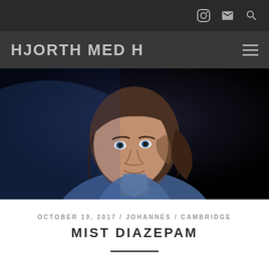HJORTH MED H
[Figure (photo): Portrait photo of a young woman with shoulder-length brown hair, wearing a denim jacket, looking to the side against a dark background with subtle blue lighting.]
OCTOBER 19, 2017 / JOHANNES / CAMBRIDGE
MIST DIAZEPAM